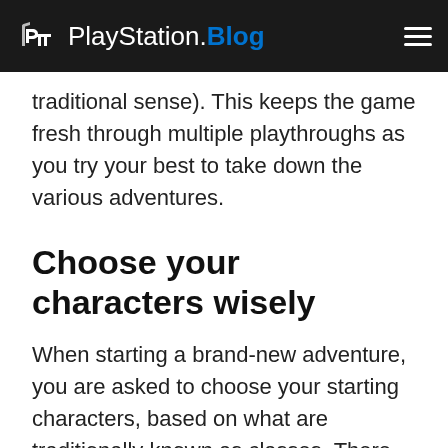PlayStation.Blog
traditional sense). This keeps the game fresh through multiple playthroughs as you try your best to take down the various adventures.
Choose your characters wisely
When starting a brand-new adventure, you are asked to choose your starting characters, based on what are traditionally known as classes. There are 11 playable characters, with four available from the get-go:
The Blacksmith is your typical Tank character, wielding a Hammer and Shield. While they have the lowest speed, they have